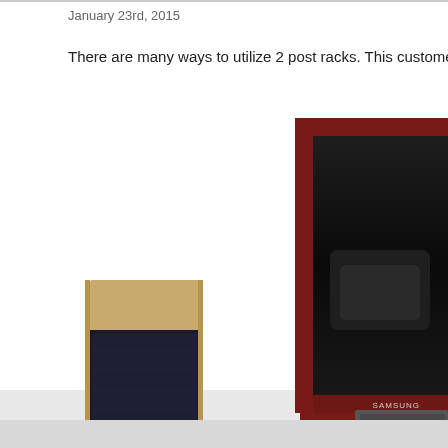January 23rd, 2015
There are many ways to utilize 2 post racks. This customer demonstrates that i
[Figure (photo): Photo of a large Samsung flat-screen television mounted on a stand, with a tall bookshelf speaker with wood cabinet visible to its left. The TV screen is off/dark and reflects a dark couch. The scene is set against a white wall.]